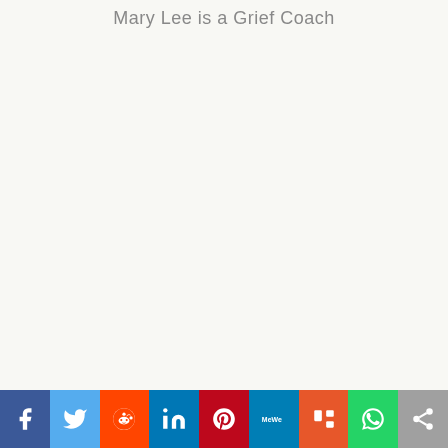Mary Lee is a Grief Coach
[Figure (other): Social media share bar with icons for Facebook, Twitter, Reddit, LinkedIn, Pinterest, MeWe, Mix, WhatsApp, and More sharing options]